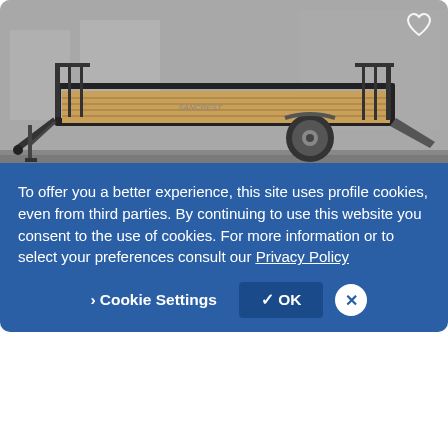[Figure (photo): A black utility trailer with wood deck floor, metal tube frame sides, and rear ramp gate, parked on a gravel lot outdoors.]
$3,250
2022 OTHER Utility Trailer
Sancrest Trailer Sales-Rogersville - Website
Rogersville, MO - 855 mi. away
To offer you a better experience, this site uses profile cookies, even from third parties. By continuing to use this website you consent to the use of cookies. For more information or to select your preferences consult our Privacy Policy